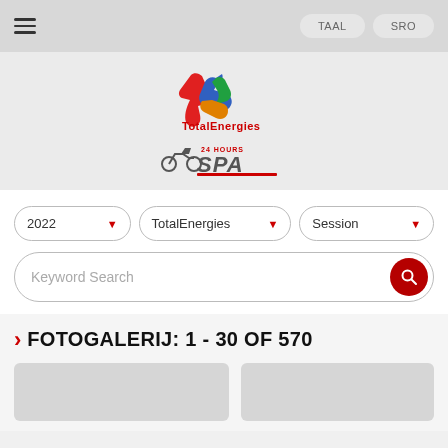TAAL   SRO
[Figure (logo): TotalEnergies logo with colorful T and e letters above red TotalEnergies text, with 24 Hours SPA motorsport event logo below]
2022  TotalEnergies  Session
Keyword Search
FOTOGALERIJ: 1 - 30 OF 570
[Figure (photo): Two partially visible photo thumbnails at the bottom of the page]